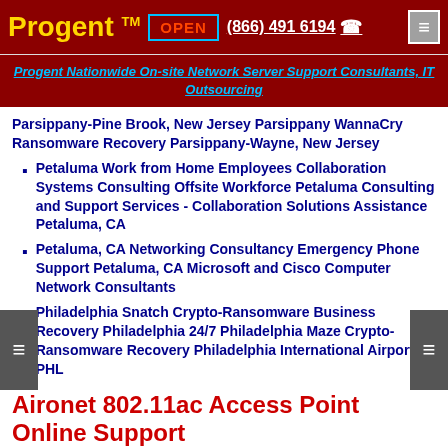Progent™  OPEN  (866) 491 6194  ☎
Progent Nationwide On-site Network Server Support Consultants, IT Outsourcing
Parsippany-Pine Brook, New Jersey Parsippany WannaCry Ransomware Recovery Parsippany-Wayne, New Jersey
Petaluma Work from Home Employees Collaboration Systems Consulting Offsite Workforce Petaluma Consulting and Support Services - Collaboration Solutions Assistance Petaluma, CA
Petaluma, CA Networking Consultancy Emergency Phone Support Petaluma, CA Microsoft and Cisco Computer Network Consultants
Philadelphia Snatch Crypto-Ransomware Business Recovery Philadelphia 24/7 Philadelphia Maze Crypto-Ransomware Recovery Philadelphia International Airport PHL
Aironet 802.11ac Access Point Online Support
On-site Support Aironet 802.11ax Wireless
Progent's Cisco CCIE wireless infrastructure consultants can